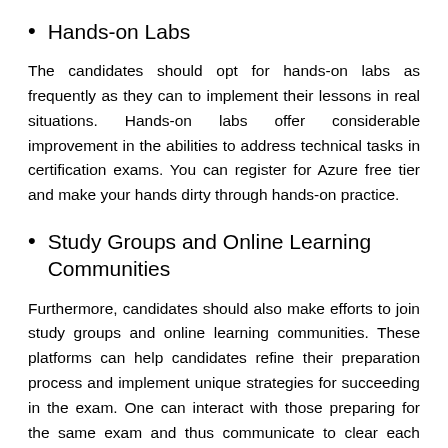Hands-on Labs
The candidates should opt for hands-on labs as frequently as they can to implement their lessons in real situations. Hands-on labs offer considerable improvement in the abilities to address technical tasks in certification exams. You can register for Azure free tier and make your hands dirty through hands-on practice.
Study Groups and Online Learning Communities
Furthermore, candidates should also make efforts to join study groups and online learning communities. These platforms can help candidates refine their preparation process and implement unique strategies for succeeding in the exam. One can interact with those preparing for the same exam and thus communicate to clear each others' doubts.
Practice Tests